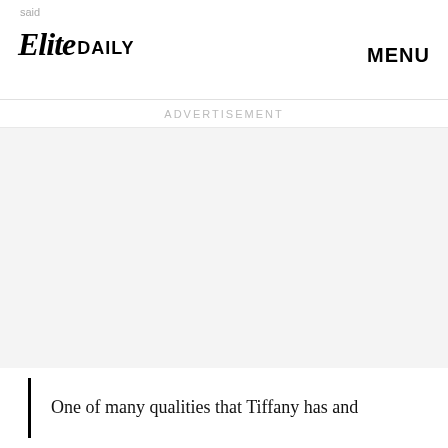said | Elite Daily | MENU
ADVERTISEMENT
[Figure (other): Advertisement/grey placeholder space]
One of many qualities that Tiffany has and